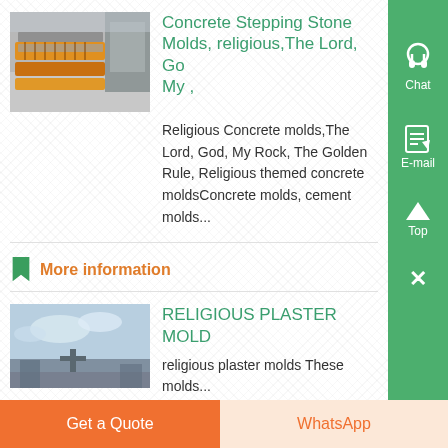[Figure (photo): Photo of concrete stepping stone molds stacked, orange/grey colors]
Concrete Stepping Stone Molds, religious,The Lord, Go My ,
Religious Concrete molds,The Lord, God, My Rock, The Golden Rule, Religious themed concrete moldsConcrete molds, cement molds...
More information
[Figure (photo): Photo of religious plaster molds outdoors against sky]
RELIGIOUS PLASTER MOLD
religious plaster molds These molds...